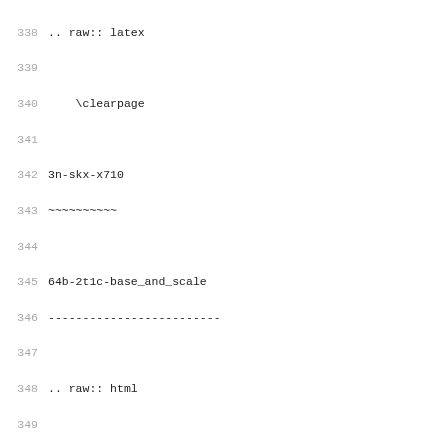338 .. raw:: latex
339
340     \clearpage
341
342 3n-skx-x710
343 ~~~~~~~~~~
344
345 64b-2t1c-base_and_scale
346 -------------------------
347
348 .. raw:: html
349
350     <center><b>
351
352 :index:`Packet Latency: l2sw-3n-skx-x710-64b-2t1c-base_
353
354 .. raw:: html
355
356     </b>
357     <iframe id="ifrm11" onload="setIframeHeight(this.id
358     <p><br><br></p>
359     </center>
360
361 .. raw:: latex
362
363     \begin{figure}[H]
364         \centering
365             \graphicspath{{../_build/_static/vpp/}}
366             \includegraphics[clip, trim=0cm 0cm 5cm 0cm
367             \label{fig:l2sw-3n-skx-x710-64b-2t1c-base_a
368     \end{figure}
369
370     raw:: latex